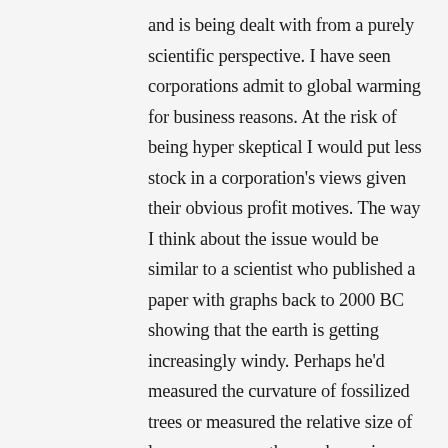and is being dealt with from a purely scientific perspective. I have seen corporations admit to global warming for business reasons. At the risk of being hyper skeptical I would put less stock in a corporation's views given their obvious profit motives. The way I think about the issue would be similar to a scientist who published a paper with graphs back to 2000 BC showing that the earth is getting increasingly windy. Perhaps he'd measured the curvature of fossilized trees or measured the relative size of leaves or some other such specious method for obtaining data from thousands of years ago.